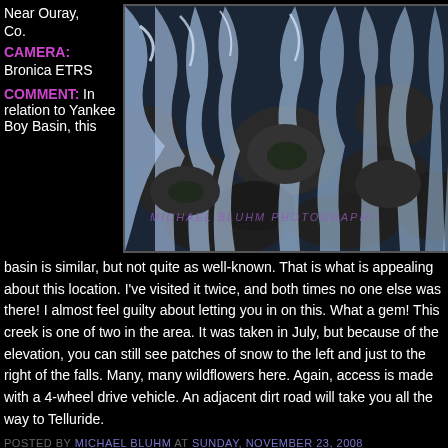Near Ouray, Co.
CAMERA: Bronica ETRS
[Figure (photo): Waterfall flowing over dark rocks, cascading whitewater with blue tones, with a watermark reading 'MICHAEL BLUHM PHOTOGRAPHY'. Near Ouray, Colorado.]
COMMENT: In relation to Yankee Boy Basin, this basin is similar, but not quite as well-known. That is what is appealing about this location. I've visited it twice, and both times no one else was there! I almost feel guilty about letting you in on this. What a gem! This creek is one of two in the area. It was taken in July, but because of the elevation, you can still see patches of snow to the left and just to the right of the falls. Many, many wildflowers here. Again, access is made with a 4-wheel drive vehicle. An adjacent dirt road will take you all the way to Telluride.
POSTED BY MICHAEL BLUHM AT SUNDAY, NOVEMBER 23, 2008
NO COMMENTS: